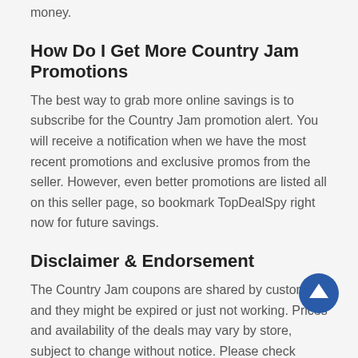money.
How Do I Get More Country Jam Promotions
The best way to grab more online savings is to subscribe for the Country Jam promotion alert. You will receive a notification when we have the most recent promotions and exclusive promos from the seller. However, even better promotions are listed all on this seller page, so bookmark TopDealSpy right now for future savings.
Disclaimer & Endorsement
The Country Jam coupons are shared by customers and they might be expired or just not working. Prices and availability of the deals may vary by store, subject to change without notice. Please check countryjam.com for the final price, availability and usability.